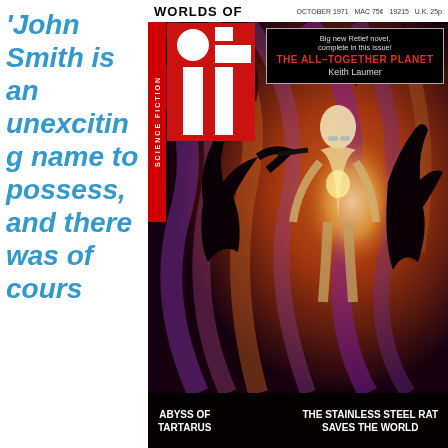'John Smith is an unexciting name to possess, and there was of cours
[Figure (photo): Cover of 'Worlds of If' Science Fiction magazine, October 1971. Shows a glowing humanoid figure surrounded by dark alien silhouettes against a dramatic orange and purple background. The 'if' logo is prominently displayed in red and white. A box advertises 'Big new Retief novel, complete in this issue! THE ALL-TOGETHER PLANET by Keith Laumer'. Bottom text reads 'ABYSS OF TARTARUS' and 'THE STAINLESS STEEL RAT SAVES THE WORLD'.]